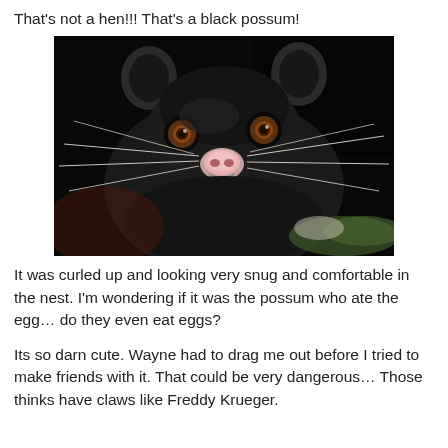That's not a hen!!! That's a black possum!
[Figure (photo): Close-up photograph of a black possum with brown eyes, a pink nose, and long white whiskers, looking directly at the camera. The animal is dark/black furred and appears to be resting on something in a dark environment.]
It was curled up and looking very snug and comfortable in the nest. I'm wondering if it was the possum who ate the egg… do they even eat eggs?
Its so darn cute. Wayne had to drag me out before I tried to make friends with it. That could be very dangerous… Those thinks have claws like Freddy Krueger.